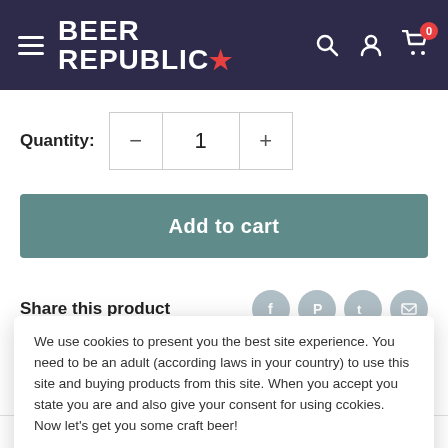BEER REPUBLIC
Quantity: 1
Add to cart
Share this product
We use cookies to present you the best site experience. You need to be an adult (according laws in your country) to use this site and buying products from this site. When you accept you state you are and also give your consent for using ccokies. Now let's get you some craft beer!
Got it!
Dewar Farmhouse Cider and our brewery. Last Fall